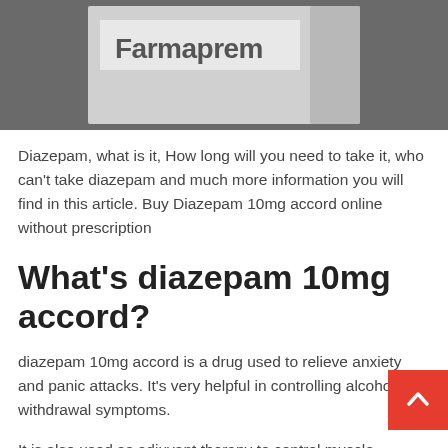[Figure (photo): Black and white photo of a medicine box labeled 'Farmaprem' on a dark background]
Diazepam, what is it, How long will you need to take it, who can't take diazepam and much more information you will find in this article. Buy Diazepam 10mg accord online without prescription
What's diazepam 10mg accord?
diazepam 10mg accord is a drug used to relieve anxiety and panic attacks. It's very helpful in controlling alcohol withdrawal symptoms.
It is also used as adjuvant therapy to control muscle spasms caused by certain neurological disorders such as cerebral palsy, paraplegia, athetosis, and stiff-man syndrome. Diazepam is also used as adjuvant therapy to control seizures